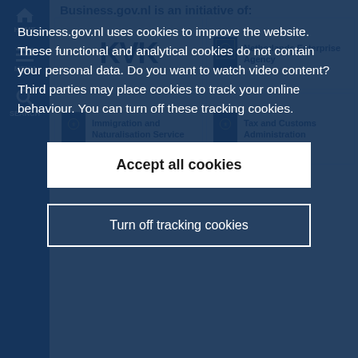Business.gov.nl is an initiative of:
[Figure (logo): KVK logo - dark blue text on beige background]
[Figure (logo): Netherlands Enterprise Agency logo with emblem]
[Figure (logo): Immigration and Naturalisation Service logo with emblem]
[Figure (logo): Tax and Customs Administration logo with emblem]
Business.gov.nl uses cookies to improve the website. These functional and analytical cookies do not contain your personal data. Do you want to watch video content? Third parties may place cookies to track your online behaviour. You can turn off these tracking cookies.
Accept all cookies
Turn off tracking cookies